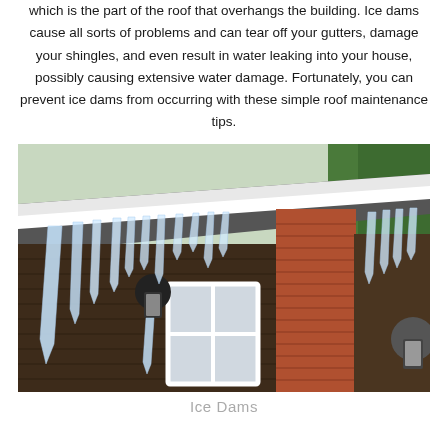which is the part of the roof that overhangs the building. Ice dams cause all sorts of problems and can tear off your gutters, damage your shingles, and even result in water leaking into your house, possibly causing extensive water damage. Fortunately, you can prevent ice dams from occurring with these simple roof maintenance tips.
[Figure (photo): A photograph of a house exterior in winter showing large icicles hanging from the snow-covered roof eave. The house has dark brown wood siding and a red brick chimney. A lantern-style light fixture is visible near a white window. Snow covers the roof and icicles hang down dramatically.]
Ice Dams